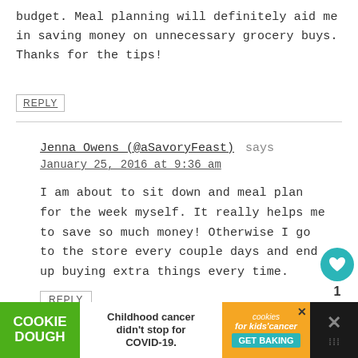budget. Meal planning will definitely aid me in saving money on unnecessary grocery buys. Thanks for the tips!
REPLY
Jenna Owens (@aSavoryFeast) says
January 25, 2016 at 9:36 am
I am about to sit down and meal plan for the week myself. It really helps me to save so much money! Otherwise I go to the store every couple days and end up buying extra things every time.
REPLY
[Figure (infographic): Cookie Dough advertisement banner: green left section with 'COOKIE DOUGH' text, white middle with 'Childhood cancer didn't stop for COVID-19.', orange right section with cookies for kids cancer logo and 'GET BAKING' button, dark right edge with X close button]